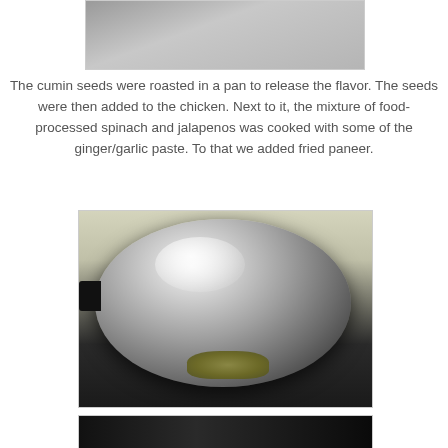[Figure (photo): Partial view of a food preparation photo (top, cropped)]
The cumin seeds were roasted in a pan to release the flavor. The seeds were then added to the chicken. Next to it, the mixture of food-processed spinach and jalapenos was cooked with some of the ginger/garlic paste. To that we added fried paneer.
[Figure (photo): A stainless steel pan on a stovetop containing roasted cumin seeds at the bottom]
[Figure (photo): Partial view of another cooking step (bottom, cropped)]